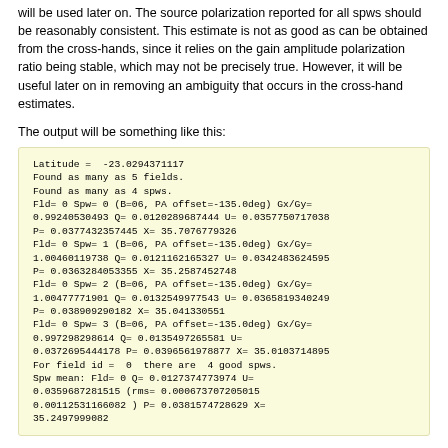will be used later on. The source polarization reported for all spws should be reasonably consistent. This estimate is not as good as can be obtained from the cross-hands, since it relies on the gain amplitude polarization ratio being stable, which may not be precisely true. However, it will be useful later on in removing an ambiguity that occurs in the cross-hand estimates.
The output will be something like this:
[Figure (screenshot): Code output box with light yellow background showing latitude, field/spw data, Gx/Gy ratios, Q, U, P, X values for multiple spws, and field mean statistics.]